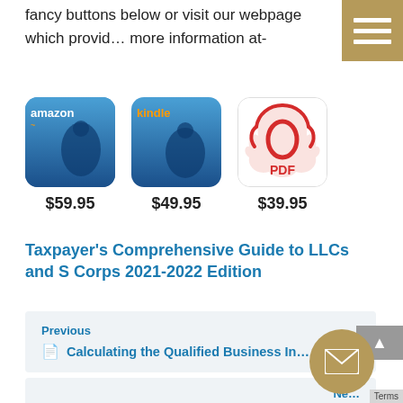fancy buttons below or visit our webpage which provides more information at-
[Figure (illustration): Amazon book purchase button icon (blue background with amazon text and smile logo)]
[Figure (illustration): Kindle book purchase button icon (blue background with kindle text)]
[Figure (illustration): PDF download button icon (white background with red PDF acrobat logo)]
$59.95   $49.95   $39.95
Taxpayer’s Comprehensive Guide to LLCs and S Corps 2021-2022 Edition
Previous
Calculating the Qualified Business In…
Ne…
Specified Service Trade or Business (…